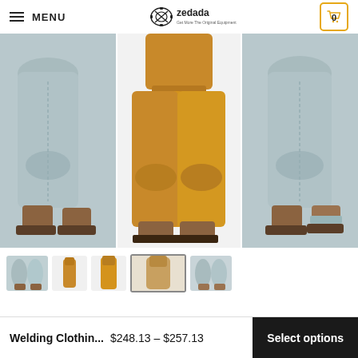MENU | zedada | Cart (0)
[Figure (photo): Three views of welding protective leather trousers/chaps. Left and right show blue-grey leather leg protection; center shows golden/tan leather chaps with bib flap. All shown on mannequin legs with work boots.]
[Figure (photo): Row of product thumbnail images for welding clothing at the bottom of the product gallery.]
Welding Clothin... $248.13 – $257.13
Select options